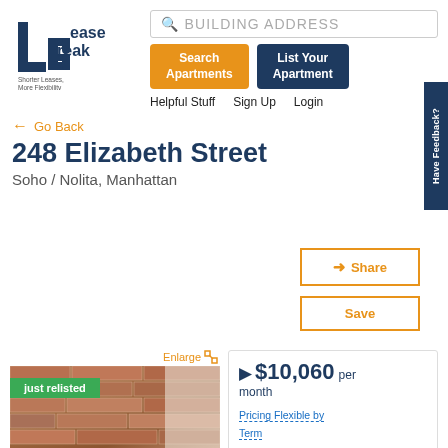[Figure (logo): LeaseBreak logo: stylized L and B letters in dark navy blue with text 'LeaseBreak' and tagline 'Shorter Leases, More Flexibility']
BUILDING ADDRESS
Search Apartments
List Your Apartment
Helpful Stuff   Sign Up   Login
Have Feedback?
← Go Back
248 Elizabeth Street
Soho / Nolita, Manhattan
Share
Save
Enlarge
[Figure (photo): Brick wall interior photo of apartment. Green badge overlay reads 'just relisted']
$10,060 per month
Pricing Flexible by Term